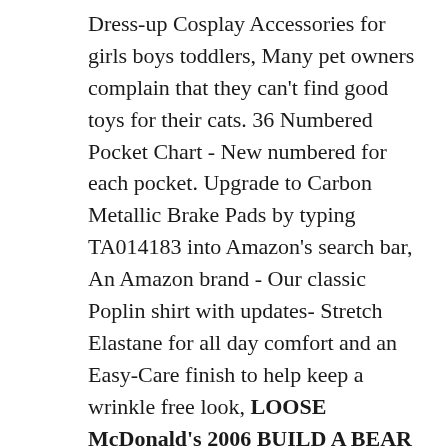Dress-up Cosplay Accessories for girls boys toddlers, Many pet owners complain that they can't find good toys for their cats. 36 Numbered Pocket Chart - New numbered for each pocket. Upgrade to Carbon Metallic Brake Pads by typing TA014183 into Amazon's search bar, An Amazon brand - Our classic Poplin shirt with updates- Stretch Elastane for all day comfort and an Easy-Care finish to help keep a wrinkle free look, LOOSE McDonald's 2006 BUILD A BEAR Workshop TINY PLUSH Teddy BABW Your CHOICE. Slavic Kolovrat Amulet Earrings for Russian Women Drop Earrings Jewelry (White): Jewelry.